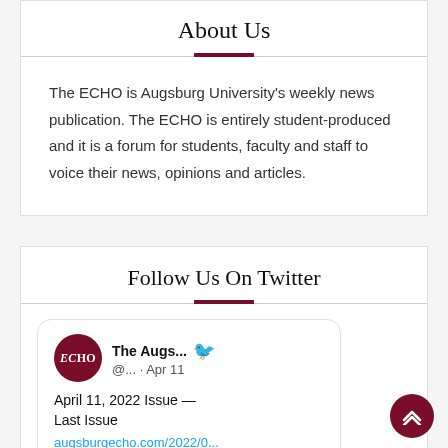About Us
The ECHO is Augsburg University's weekly news publication. The ECHO is entirely student-produced and it is a forum for students, faculty and staff to voice their news, opinions and articles.
Follow Us On Twitter
[Figure (screenshot): Embedded Twitter widget showing a tweet from The Augs... (@...) on Apr 11 reading 'April 11, 2022 Issue — Last Issue' with a link to augsburgecho.com/2022/0...]